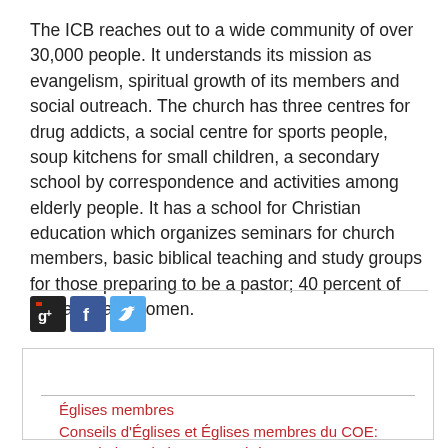The ICB reaches out to a wide community of over 30,000 people. It understands its mission as evangelism, spiritual growth of its members and social outreach. The church has three centres for drug addicts, a social centre for sports people, soup kitchens for small children, a secondary school by correspondence and activities among elderly people. It has a school for Christian education which organizes seminars for church members, basic biblical teaching and study groups for those preparing to be a pastor; 40 percent of the latter are women.
[Figure (other): Social media share icons: Google+, Facebook, Twitter]
Églises membres
Conseils d'Églises et Églises membres du COE: portrait des relations œcuméniques